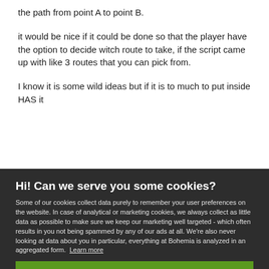the path from point A to point B.
it would be nice if it could be done so that the player have the option to decide witch route to take, if the script came up with like 3 routes that you can pick from.
I know it is some wild ideas but if it is to much to put inside HAS it could be...
Hi! Can we serve you some cookies?
Some of our cookies collect data purely to remember your user preferences on the website. In case of analytical or marketing cookies, we always collect as little data as possible to make sure we keep our marketing well targeted - which often results in you not being spammed by any of our ads at all. We’re also never looking at data about you in particular, everything at Bohemia is analyzed in an aggregated form. Learn more
Allow all cookies
I want more options